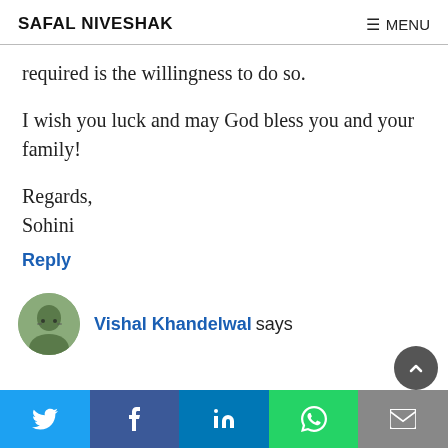SAFAL NIVESHAK   ☰ MENU
required is the willingness to do so.
I wish you luck and may God bless you and your family!
Regards,
Sohini
Reply
Vishal Khandelwal says